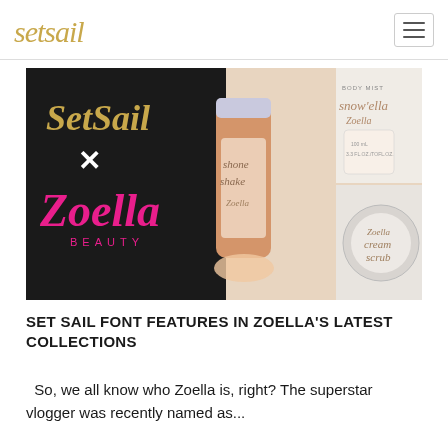setsail
[Figure (photo): Promotional image showing SetSail x Zoella Beauty collaboration. Left side has black background with gold script 'SetSail' logo, a white 'x', and pink script 'Zoella BEAUTY' text. Center shows a hand holding a peach/orange Zoella 'Shone Shake' tube product. Right side shows Zoella 'Body Mist Snow'ella' and 'Zoella Cream Scrub' products on a light background.]
SET SAIL FONT FEATURES IN ZOELLA'S LATEST COLLECTIONS
So, we all know who Zoella is, right? The superstar vlogger was recently named as...